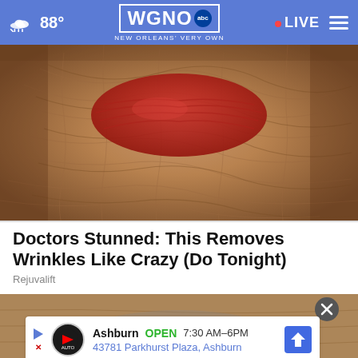88° WGNO abc NEW ORLEANS' VERY OWN • LIVE
[Figure (photo): Close-up photo of heavily wrinkled skin around lips area with reddish lip color visible]
Doctors Stunned: This Removes Wrinkles Like Crazy (Do Tonight)
Rejuvalift
[Figure (photo): Partial second article image showing wooden surface or background]
Ashburn OPEN 7:30 AM–6PM 43781 Parkhurst Plaza, Ashburn